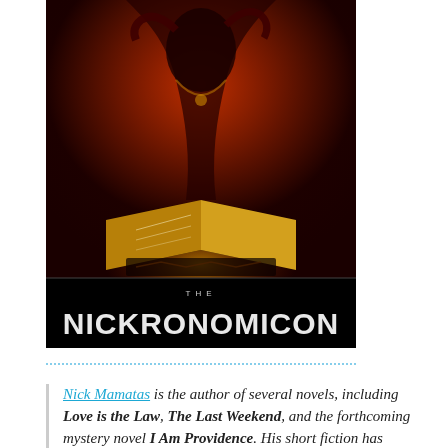[Figure (illustration): Book cover for 'The Nickronomicon' showing a dark mystical figure in red robes with an open glowing book, dark occult imagery with red and gold tones. Black title bar below with 'THE NICKRONOMICON' in white stylized text.]
Nick Mamatas is the author of several novels, including Love is the Law, The Last Weekend, and the forthcoming mystery novel I Am Providence. His short fiction has appeared in Asimov's Science Fiction, Weird Tales, T...